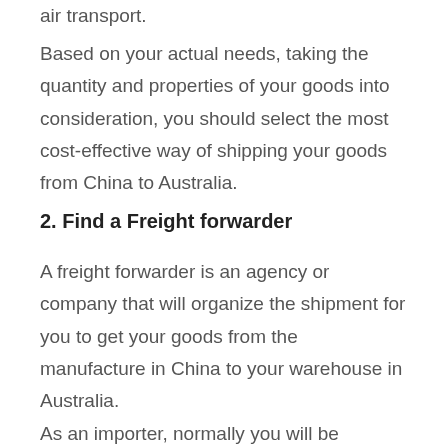air transport.
Based on your actual needs, taking the quantity and properties of your goods into consideration, you should select the most cost-effective way of shipping your goods from China to Australia.
2. Find a Freight forwarder
A freight forwarder is an agency or company that will organize the shipment for you to get your goods from the manufacture in China to your warehouse in Australia.
As an importer, normally you will be working with